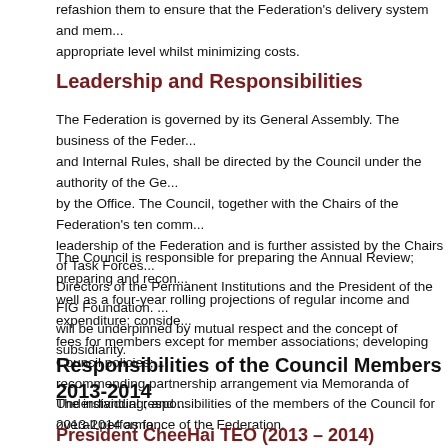refashion them to ensure that the Federation's delivery system and members receive an appropriate level whilst minimizing costs.
Leadership and Responsibilities
The Federation is governed by its General Assembly. The business of the Federation, subject to the Statutes and Internal Rules, shall be directed by the Council under the authority of the General Assembly and supported by the Office. The Council, together with the Chairs of the Federation's ten commissions, forms the wider leadership of the Federation and is further assisted by the Chairs of Task Forces, the Working Groups, the Directors of the Permanent Institutions and the President of the FIG Foundation. All of these relationships will be underpinned by mutual respect and the concept of subsidiarity.
The Council is responsible for preparing the Annual Review; preparing and recommending the annual budget as well as a four-year rolling projections of regular income and expenditure; considering and recommending membership fees for members except for member associations; developing Council policies; monitoring, evaluating and recommending partnership arrangement via Memoranda of Understanding; and monitoring and evaluating the overall performance of the Federation.
Responsibilities of the Council Members 2013-2014
The individual responsibilities of the members of the Council for 2013-2014 as fo
President CheeHai TEO (2013 – 2014)